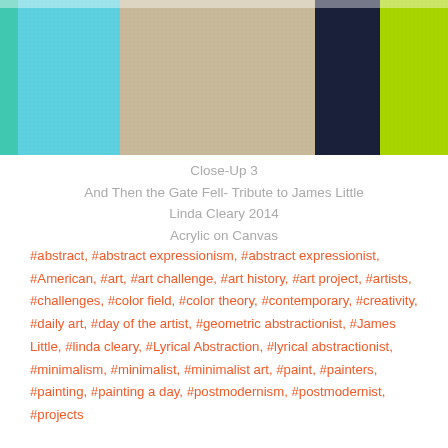[Figure (photo): Close-up photograph of a painting showing geometric blocks of color: light blue, beige/tan, dark navy, and bright lime green on textured canvas.]
Close-Up 3
And Then the Gate Fell- Tribute to James Little
Linda Cleary 2014
Acrylic on Canvas
#abstract, #abstract expressionism, #abstract expressionist, #American, #art, #art challenge, #art history, #art project, #artists, #challenges, #color field, #color theory, #contemporary, #creativity, #daily art, #day of the artist, #geometric abstractionist, #James Little, #linda cleary, #Lyrical Abstraction, #lyrical abstractionist, #minimalism, #minimalist, #minimalist art, #paint, #painters, #painting, #painting a day, #postmodernism, #postmodernist, #projects